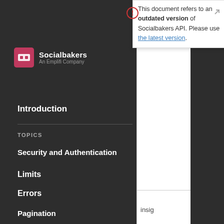[Figure (logo): Socialbakers An Emplifi Company logo with pink square icon]
Introduction
TOPICS
Security and Authentication
Limits
Errors
Pagination
Reference Data
List of Connected Profiles
This document refers to an outdated version of Socialbakers API. Please use the latest version.
insig
Instag
Example reques